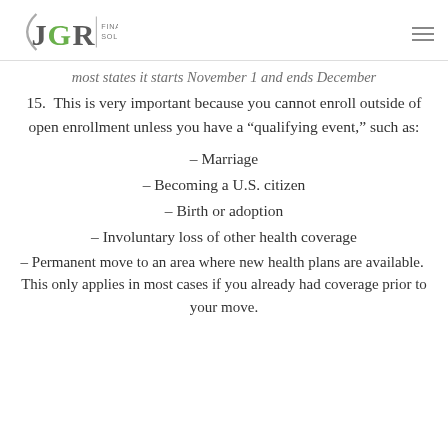JGR Financial Solutions
most states it starts November 1 and ends December 15.  This is very important because you cannot enroll outside of open enrollment unless you have a “qualifying event,” such as:
– Marriage
– Becoming a U.S. citizen
– Birth or adoption
– Involuntary loss of other health coverage
– Permanent move to an area where new health plans are available.  This only applies in most cases if you already had coverage prior to your move.